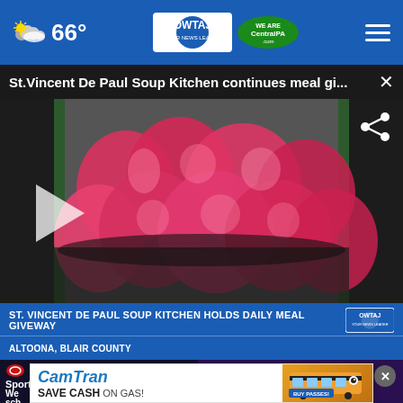66°  OWTAJ CentralPA.com
St.Vincent De Paul Soup Kitchen continues meal gi...
[Figure (screenshot): Video thumbnail showing pink plastic bags filled with meals in a green rack/crate, with a play button overlay and share icon. Lower thirds text reads: 'ST. VINCENT DE PAUL SOUP KITCHEN HOLDS DAILY MEAL GIVEWAY / ALTOONA, BLAIR COUNTY' with WTAJ logo badge.]
[Figure (screenshot): Bottom section showing two article cards side by side. Left card: Sportsbeat logo with text 'Sportsbeat: We...' and 'sch...' on dark background. Right card: 'Wanted' text on dark purple background with close X button. CamTran advertisement overlay at bottom: 'CamTran SAVE CASH ON GAS!' with bus image and 'BUY PASSES!' button.]